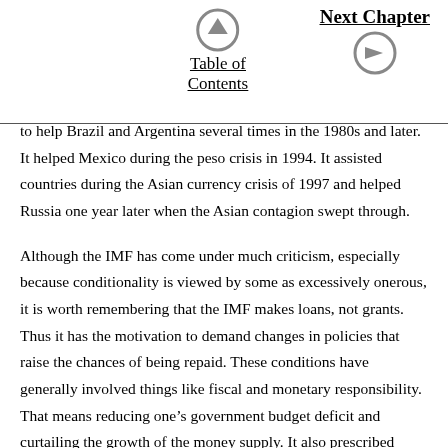Table of Contents | Next Chapter
to help Brazil and Argentina several times in the 1980s and later. It helped Mexico during the peso crisis in 1994. It assisted countries during the Asian currency crisis of 1997 and helped Russia one year later when the Asian contagion swept through.
Although the IMF has come under much criticism, especially because conditionality is viewed by some as excessively onerous, it is worth remembering that the IMF makes loans, not grants. Thus it has the motivation to demand changes in policies that raise the chances of being repaid. These conditions have generally involved things like fiscal and monetary responsibility. That means reducing one’s government budget deficit and curtailing the growth of the money supply. It also prescribed privatization that involves the